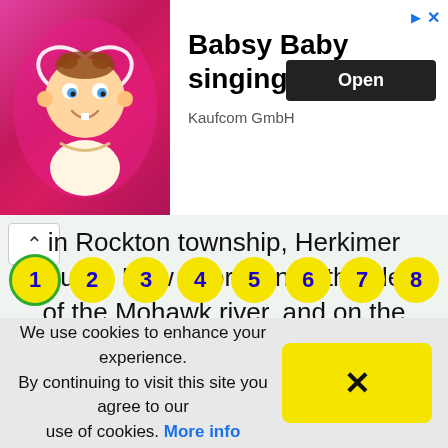[Figure (illustration): Advertisement banner for 'Babsy Baby singing Twinkle' app by Kaufcom GmbH, featuring a cartoon baby with a heart halo on a pink sparkly background, with an 'Open' button.]
in Rockton township, Herkimer county, New . York, on both sides of the Mohawk river, and on the Utica and...Read MORE...
1 2 3 4 5 6 7 8 (pagination)
We use cookies to enhance your experience. By continuing to visit this site you agree to our use of cookies. More info